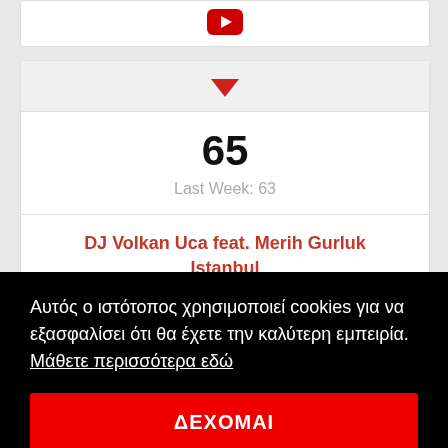[Figure (logo): YouTube logo icon (red circle with play button), partially visible at top of a white card]
[Figure (other): Red downward arrow indicating chart position movement down]
65
Last Week: 63
DJ Volkan Uca feat. Merih Gurluk
Istanbul
Αυτός ο ιστότοπος χρησιμοποιεί cookies για να εξασφαλίσει ότι θα έχετε την καλύτερη εμπειρία.  Μάθετε περισσότερα εδώ
ΔΕΧΟΜΑΙ
[Figure (other): Green upward arrow indicating chart position movement up, partially visible at bottom]